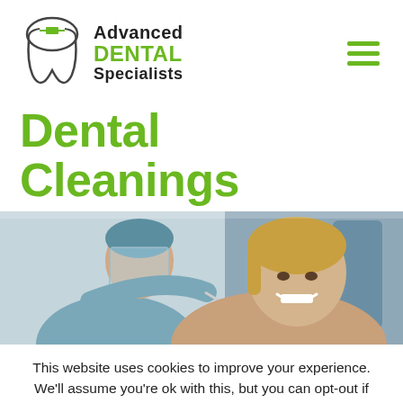[Figure (logo): Advanced Dental Specialists logo with tooth icon and green/black text]
Dental Cleanings
[Figure (photo): Dentist in blue scrubs and face shield leaning over a smiling female patient in a dental chair]
This website uses cookies to improve your experience. We'll assume you're ok with this, but you can opt-out if you wish.
Cookie settings
ACCEPT